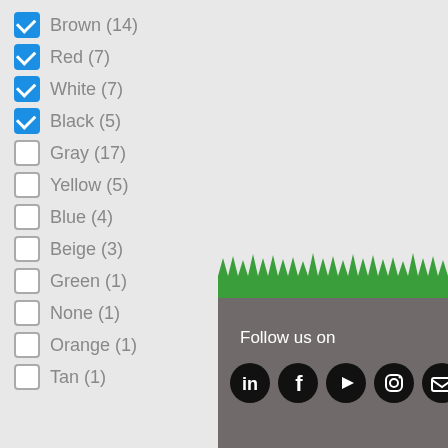Brown (14) [checked]
Red (7) [checked]
White (7) [checked]
Black (5) [checked]
Gray (17) [unchecked]
Yellow (5) [unchecked]
Blue (4) [unchecked]
Beige (3) [unchecked]
Green (1) [unchecked]
None (1) [unchecked]
Orange (1) [unchecked]
Tan (1) [unchecked]
Follow us on
[Figure (illustration): Social media icons: LinkedIn, Facebook, YouTube, Instagram, and one more (partially visible), on black circular backgrounds. Below a decorative grass SVG banner and dark gray footer background.]